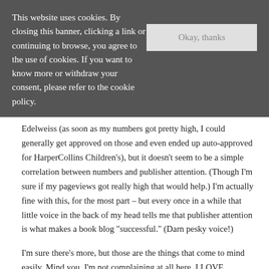This website uses cookies. By closing this banner, clicking a link or continuing to browse, you agree to the use of cookies. If you want to know more or withdraw your consent, please refer to the cookie policy.
Okay, thanks
Edelweiss (as soon as my numbers got pretty high, I could generally get approved on those and even ended up auto-approved for HarperCollins Children's), but it doesn't seem to be a simple correlation between numbers and publisher attention. (Though I'm sure if my pageviews got really high that would help.) I'm actually fine with this, for the most part – but every once in a while that little voice in the back of my head tells me that publisher attention is what makes a book blog "successful." (Darn pesky voice!)
I'm sure there's more, but those are the things that come to mind easily. Mind you, I'm not complaining at all here. I LOVE